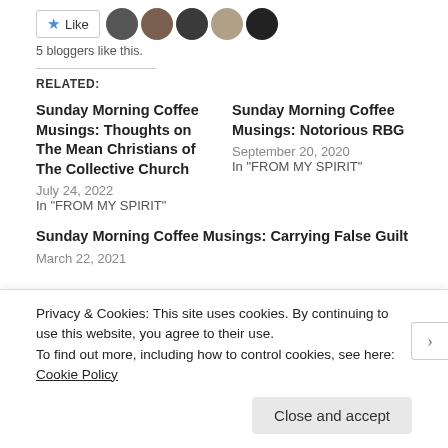[Figure (other): Like button and blogger avatar row — star like button followed by 5 circular blogger avatars]
5 bloggers like this.
RELATED:
Sunday Morning Coffee Musings: Thoughts on The Mean Christians of The Collective Church
July 24, 2022
In "FROM MY SPIRIT"
Sunday Morning Coffee Musings: Notorious RBG
September 20, 2020
In "FROM MY SPIRIT"
Sunday Morning Coffee Musings: Carrying False Guilt
March 22, 2021
Privacy & Cookies: This site uses cookies. By continuing to use this website, you agree to their use.
To find out more, including how to control cookies, see here: Cookie Policy
Close and accept